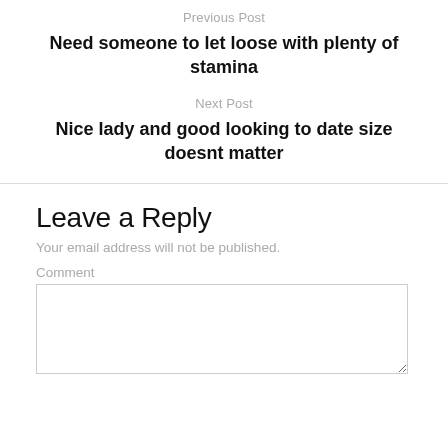Previous Post
Need someone to let loose with plenty of stamina
Next Post
Nice lady and good looking to date size doesnt matter
Leave a Reply
Your email address will not be published.
Comment